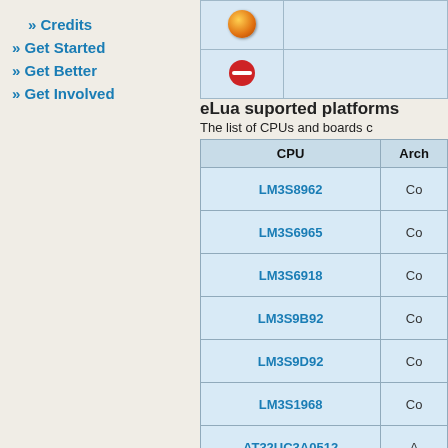» Credits
» Get Started
» Get Better
» Get Involved
eLua suported platforms
The list of CPUs and boards c...
| CPU | Arch |
| --- | --- |
| LM3S8962 | Co... |
| LM3S6965 | Co... |
| LM3S6918 | Co... |
| LM3S9B92 | Co... |
| LM3S9D92 | Co... |
| LM3S1968 | Co... |
| AT32UC3A0512 | A... |
| AT32UC3B0256 | A... |